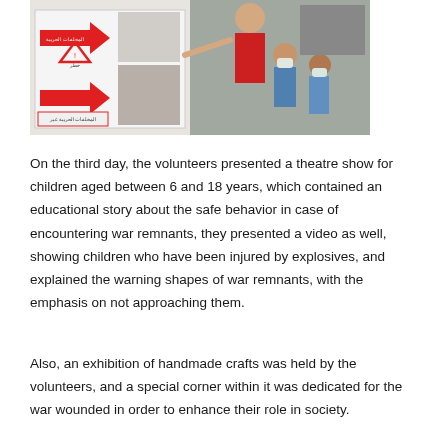[Figure (photo): Children wearing face masks looking at a display board with Arabic warning signs and red arrows, guided by a person wearing a red vest. The board shows hazard symbols and images related to war remnants safety education.]
On the third day, the volunteers presented a theatre show for children aged between 6 and 18 years, which contained an educational story about the safe behavior in case of encountering war remnants, they presented a video as well, showing children who have been injured by explosives, and explained the warning shapes of war remnants, with the emphasis on not approaching them.
Also, an exhibition of handmade crafts was held by the volunteers, and a special corner within it was dedicated for the war wounded in order to enhance their role in society.